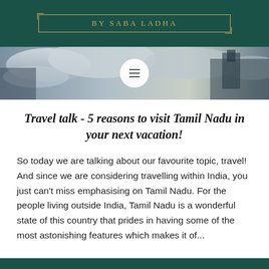BY SABA LADHA
[Figure (photo): Panoramic banner photo of clouds and a temple or monument, with a circular white menu icon overlay in the center]
Travel talk - 5 reasons to visit Tamil Nadu in your next vacation!
So today we are talking about our favourite topic, travel! And since we are considering travelling within India, you just can't miss emphasising on Tamil Nadu. For the people living outside India, Tamil Nadu is a wonderful state of this country that prides in having some of the most astonishing features which makes it of...